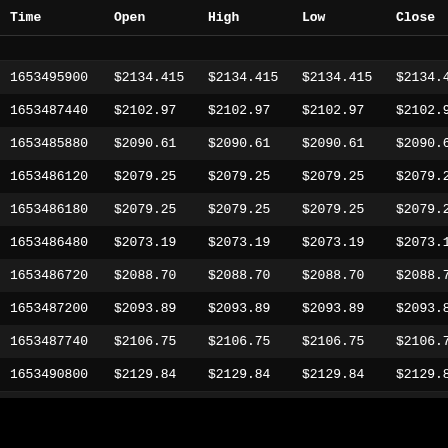| Time | Open | High | Low | Close | V |
| --- | --- | --- | --- | --- | --- |
| 1653495900 | $2134.415 | $2134.415 | $2134.415 | $2134.415 |  |
| 1653487440 | $2102.97 | $2102.97 | $2102.97 | $2102.97 |  |
| 1653485880 | $2090.61 | $2090.61 | $2090.61 | $2090.61 |  |
| 1653486120 | $2079.25 | $2079.25 | $2079.25 | $2079.25 |  |
| 1653486180 | $2079.25 | $2079.25 | $2079.25 | $2079.25 |  |
| 1653486480 | $2073.19 | $2073.19 | $2073.19 | $2073.19 |  |
| 1653486720 | $2088.70 | $2088.70 | $2088.70 | $2088.70 |  |
| 1653487200 | $2093.89 | $2093.89 | $2093.89 | $2093.89 |  |
| 1653487740 | $2106.75 | $2106.75 | $2106.75 | $2106.75 |  |
| 1653490800 | $2129.84 | $2129.84 | $2129.84 | $2129.84 |  |